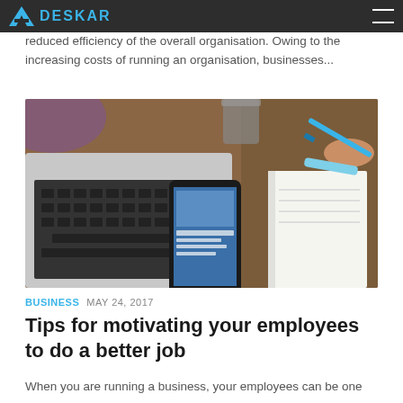DESKAR
reduced efficiency of the overall organisation. Owing to the increasing costs of running an organisation, businesses...
[Figure (photo): A workspace scene showing a laptop keyboard, a smartphone displaying a webpage, and a person's hand holding a blue pen over a white notebook on a wooden desk.]
BUSINESS  MAY 24, 2017
Tips for motivating your employees to do a better job
When you are running a business, your employees can be one